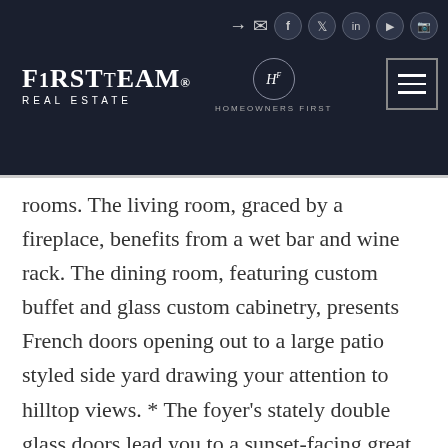FirstTeam Real Estate | Homeowners First
rooms. The living room, graced by a fireplace, benefits from a wet bar and wine rack. The dining room, featuring custom buffet and glass custom cabinetry, presents French doors opening out to a large patio styled side yard drawing your attention to hilltop views. * The foyer's stately double glass doors lead you to a sunset-facing great room housing a breakfast area with custom cabinets, pantry (behind the pantry area is a private bedroom/office with full bathroom and French doors opening out to the side yard), kitchen with an island plus abundant cabinets, along with, a family room opening out to the one-of-a-kind oasis styled landscape designed with footpaths, flowers, bushes, a cornucopia of fruit trees, privacy hedge, patio and gazebo. This luxurious living space has easy